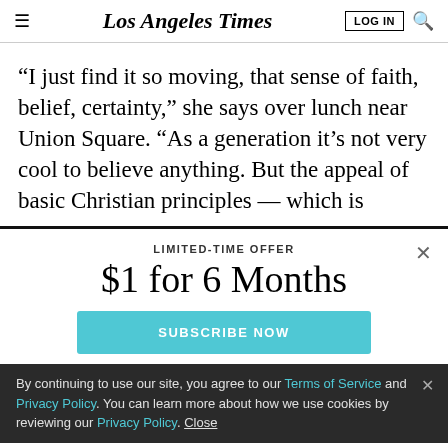Los Angeles Times | LOG IN | Search
“I just find it so moving, that sense of faith, belief, certainty,” she says over lunch near Union Square. “As a generation it’s not very cool to believe anything. But the appeal of basic Christian principles — which is
LIMITED-TIME OFFER
$1 for 6 Months
SUBSCRIBE NOW
By continuing to use our site, you agree to our Terms of Service and Privacy Policy. You can learn more about how we use cookies by reviewing our Privacy Policy. Close